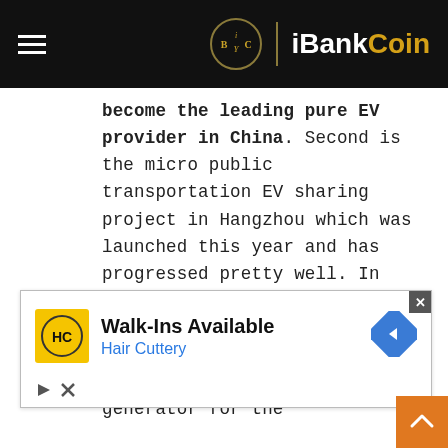iBankCoin
become the leading pure EV provider in China. Second is the micro public transportation EV sharing project in Hangzhou which was launched this year and has progressed pretty well. In 2014, we expect our EV business may surpass our legacy go-cart business and become a major revenue generator for the
[Figure (screenshot): Advertisement for Hair Cuttery: Walk-Ins Available, with Hair Cuttery logo and navigation arrow icon.]